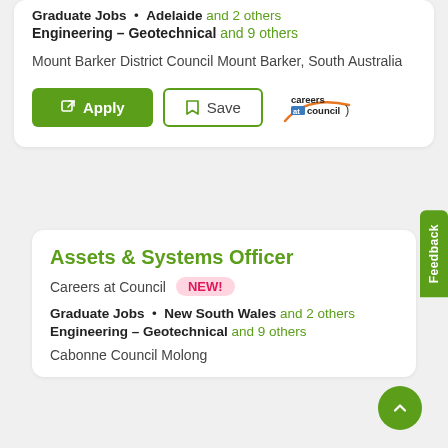Engineering - Geotechnical and 9 others
Mount Barker District Council Mount Barker, South Australia
[Figure (other): Apply button (green) and Save button with Careers at Council logo]
Assets & Systems Officer
Careers at Council NEW!
Graduate Jobs • New South Wales and 2 others
Engineering - Geotechnical and 9 others
Cabonne Council Molong